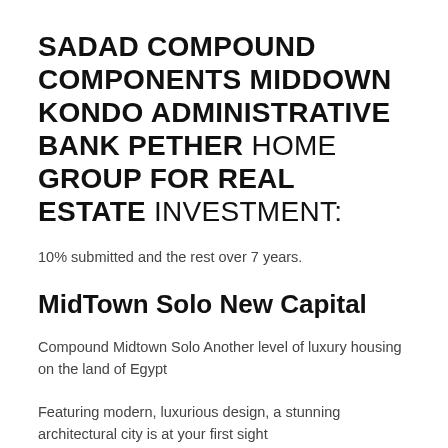SADAD COMPOUND COMPONENTS MIDDOWN KONDO ADMINISTRATIVE BANK PETHER HOME GROUP FOR REAL ESTATE INVESTMENT:
10% submitted and the rest over 7 years.
MidTown Solo New Capital
Compound Midtown Solo Another level of luxury housing on the land of Egypt
Featuring modern, luxurious design, a stunning architectural city is at your first sight